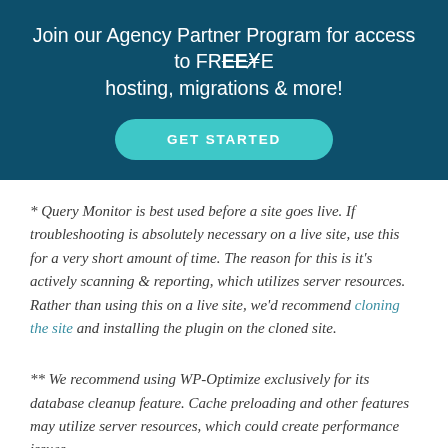Join our Agency Partner Program for access to FREE hosting, migrations & more!
GET STARTED
* Query Monitor is best used before a site goes live. If troubleshooting is absolutely necessary on a live site, use this for a very short amount of time. The reason for this is it's actively scanning & reporting, which utilizes server resources. Rather than using this on a live site, we'd recommend cloning the site and installing the plugin on the cloned site.
** We recommend using WP-Optimize exclusively for its database cleanup feature. Cache preloading and other features may utilize server resources, which could create performance issues.